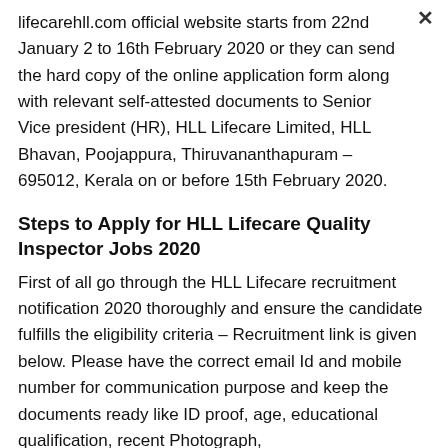lifecarehll.com official website starts from 22nd January 2 to 16th February 2020 or they can send the hard copy of the online application form along with relevant self-attested documents to Senior Vice president (HR), HLL Lifecare Limited, HLL Bhavan, Poojappura, Thiruvananthapuram – 695012, Kerala on or before 15th February 2020.
Steps to Apply for HLL Lifecare Quality Inspector Jobs 2020
First of all go through the HLL Lifecare recruitment notification 2020 thoroughly and ensure the candidate fulfills the eligibility criteria – Recruitment link is given below. Please have the correct email Id and mobile number for communication purpose and keep the documents ready like ID proof, age, educational qualification, recent Photograph,